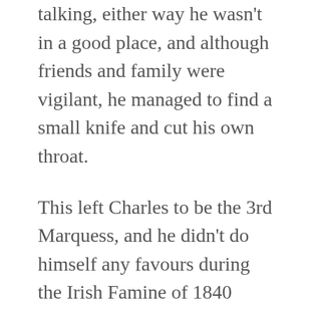talking, either way he wasn't in a good place, and although friends and family were vigilant, he managed to find a small knife and cut his own throat.
This left Charles to be the 3rd Marquess, and he didn't do himself any favours during the Irish Famine of 1840 when he and his wife gave only £30 to the local relief committee but spent £150,000 (£13.6 million as of 2020) renovating Mount Stewart their Irish home. Also he led the opposition to the Mines & Colliery act of 1842 in the House of Lords. He is reported to have raged madly against any